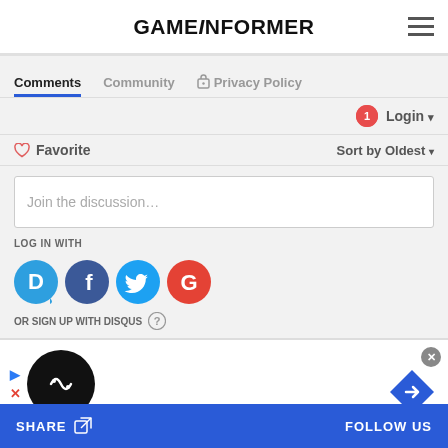GAMEINFORMER
Comments | Community | Privacy Policy
Login ▾
♡ Favorite   Sort by Oldest ▾
Join the discussion...
LOG IN WITH
[Figure (logo): Social login icons: Disqus (D), Facebook (f), Twitter bird, Google (G)]
OR SIGN UP WITH DISQUS ?
[Figure (infographic): Advertisement banner with play button, X close button, black circle logo with chain-link icon, blue diamond arrow icon, and close X button top right]
SHARE   FOLLOW US